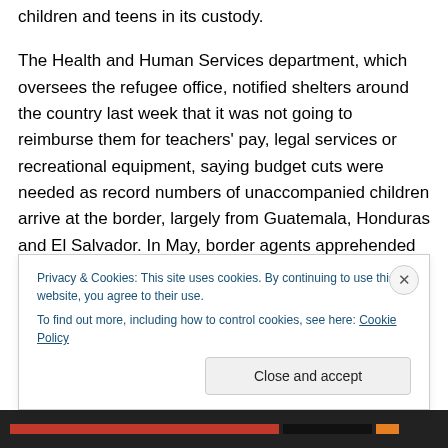children and teens in its custody.
The Health and Human Services department, which oversees the refugee office, notified shelters around the country last week that it was not going to reimburse them for teachers' pay, legal services or recreational equipment, saying budget cuts were needed as record numbers of unaccompanied children arrive at the border, largely from Guatemala, Honduras and El Salvador. In May, border agents apprehended 11,507 children traveling alone.
Attorneys said the move violates a legal settlement known
Privacy & Cookies: This site uses cookies. By continuing to use this website, you agree to their use.
To find out more, including how to control cookies, see here: Cookie Policy